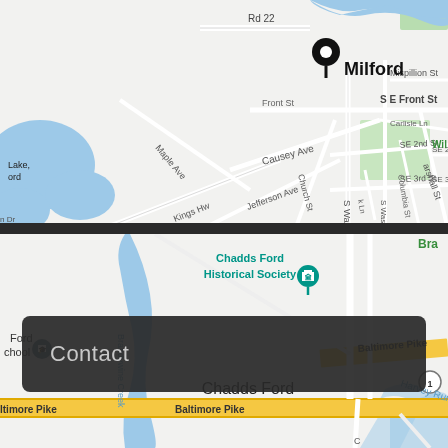[Figure (map): Google Maps view of Milford, Delaware showing streets including S Walnut St, Causey Ave, S Washington St, SE 2nd St, SE 3rd St, Carlisle Ln, Columbia St, Marshall St, Front St, Mispillion St, Jefferson Ave, Kings Hwy, Maple Ave, with a black location pin marker over Milford label, and blue lake/water features on the left.]
[Figure (map): Google Maps view of Chadds Ford, Pennsylvania area showing Brandywine Creek, Baltimore Pike (yellow road, Route 1), Chadds Ford Historical Society with teal pin marker, Harvey Run, and labels for Ford School and Bra(ndywine area). A dark separator band divides the two maps.]
Contact